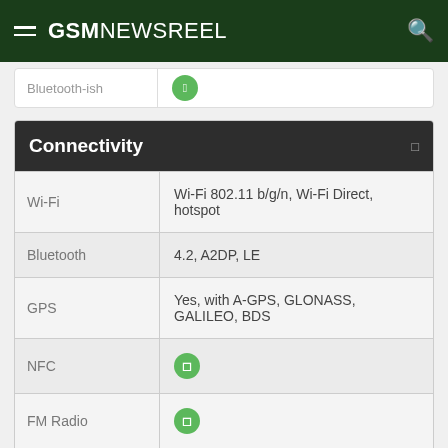GSMNEWSREEL
| Property | Value |
| --- | --- |
| Connectivity |  |
| Wi-Fi | Wi-Fi 802.11 b/g/n, Wi-Fi Direct, hotspot |
| Bluetooth | 4.2, A2DP, LE |
| GPS | Yes, with A-GPS, GLONASS, GALILEO, BDS |
| NFC | ✓ |
| FM Radio | ✓ |
| USB | microUSB 2.0, USB On-The-Go |